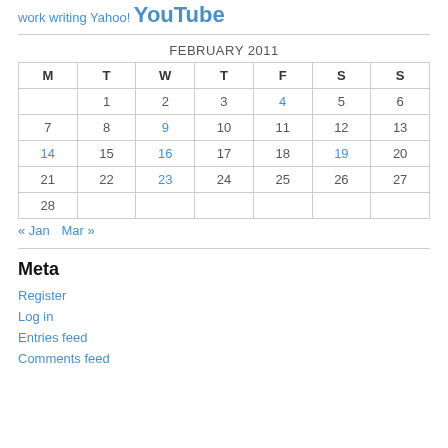work writing Yahoo! YouTube
| M | T | W | T | F | S | S |
| --- | --- | --- | --- | --- | --- | --- |
|  | 1 | 2 | 3 | 4 | 5 | 6 |
| 7 | 8 | 9 | 10 | 11 | 12 | 13 |
| 14 | 15 | 16 | 17 | 18 | 19 | 20 |
| 21 | 22 | 23 | 24 | 25 | 26 | 27 |
| 28 |  |  |  |  |  |  |
« Jan   Mar »
Meta
Register
Log in
Entries feed
Comments feed